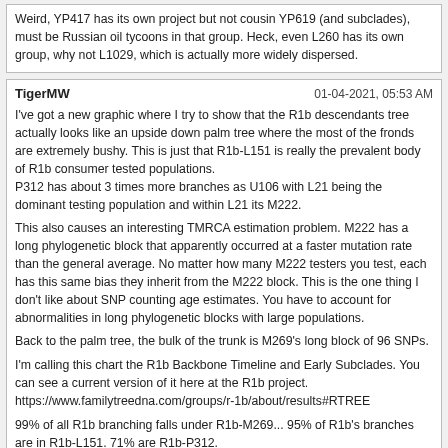Weird, YP417 has its own project but not cousin YP619 (and subclades), must be Russian oil tycoons in that group. Heck, even L260 has its own group, why not L1029, which is actually more widely dispersed.
TigerMW
01-04-2021, 05:53 AM
I've got a new graphic where I try to show that the R1b descendants tree actually looks like an upside down palm tree where the most of the fronds are extremely bushy. This is just that R1b-L151 is really the prevalent body of R1b consumer tested populations.
P312 has about 3 times more branches as U106 with L21 being the dominant testing population and within L21 its M222.

This also causes an interesting TMRCA estimation problem. M222 has a long phylogenetic block that apparently occurred at a faster mutation rate than the general average. No matter how many M222 testers you test, each has this same bias they inherit from the M222 block. This is the one thing I don't like about SNP counting age estimates. You have to account for abnormalities in long phylogenetic blocks with large populations.

Back to the palm tree, the bulk of the trunk is M269's long block of 96 SNPs.

I'm calling this chart the R1b Backbone Timeline and Early Subclades. You can see a current version of it here at the R1b project.
https://www.familytreedna.com/groups/r-1b/about/results#RTREE

99% of all R1b branching falls under R1b-M269... 95% of R1b's branches are in R1b-L151. 71% are R1b-P312.
razyn
07-06-2021, 03:05 PM
Maybe it means that DF27 has made up most of the lost ground due to having a later start in discovery and testing; and things are now settling into a more normal growth pattern in the FTDNA database.